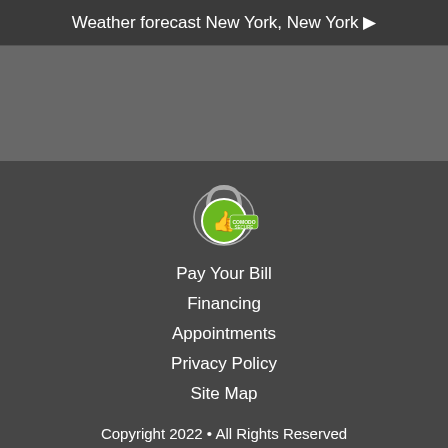Weather forecast New York, New York ▶
[Figure (logo): Comodo Secure trust badge with green padlock and thumbs up icon]
Pay Your Bill
Financing
Appointments
Privacy Policy
Site Map
Copyright 2022 • All Rights Reserved
Site by Lawrence Media